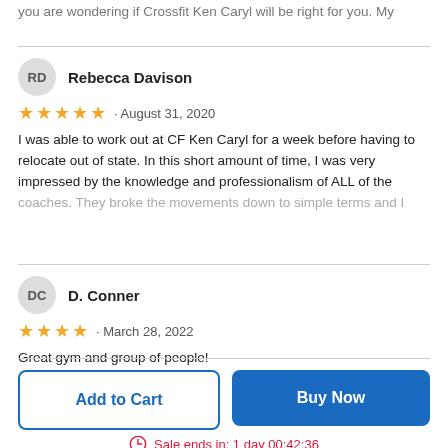you are wondering if Crossfit Ken Caryl will be right for you. My
Rebecca Davison
★★★★★ · August 31, 2020
I was able to work out at CF Ken Caryl for a week before having to relocate out of state. In this short amount of time, I was very impressed by the knowledge and professionalism of ALL of the coaches. They broke the movements down to simple terms and I
D. Conner
★★★★ · March 28, 2022
Great gym and group of people!
Add to Cart
Buy Now
Sale ends in: 1 day 00:42:36